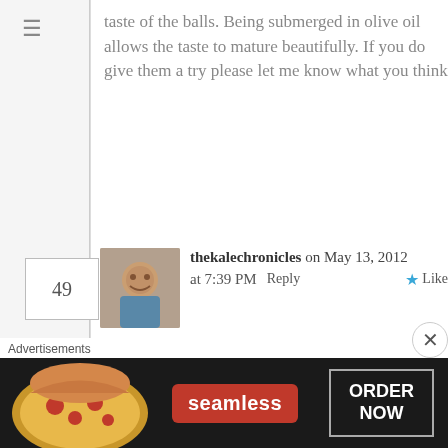taste of the balls. Being submerged in olive oil allows the taste to mature beautifully. If you do give them a try please let me know what you think
thekalechronicles on May 13, 2012 at 7:39 PM  Reply  Like
Thanks for the tip about the sheet for photography — I'll have to try it: photos next to my windows have had too much glare — I like to tape my paintings to a white outside wall on a lightly overcast day, but the weather does not often cooperate. I have never
Advertisements
[Figure (screenshot): Seamless food delivery advertisement banner showing pizza image, seamless logo in red, and ORDER NOW button]